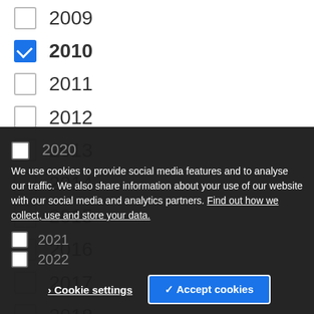2009
2010 (checked)
2011
2012
2013
2014
2015
2016
2017
2018
2019
2020
2021
2022
We use cookies to provide social media features and to analyse our traffic. We also share information about your use of our website with our social media and analytics partners. Find out how we collect, use and store your data.
Cookie settings | ✓ Accept cookies